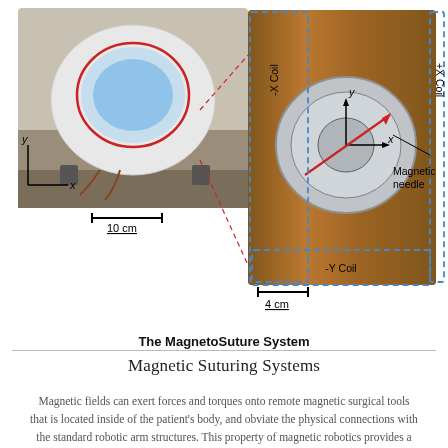[Figure (photo): Two photographs of the MagnetoSuture System. Left photo shows the full device with a white spherical robot and a coordinate axis (y up, x right) overlay and a red circle highlighting the needle area, with scale bar '10 cm'. Right photo is a close-up view showing the magnetic needle inside the device with labeled coils: +X Coil (right dashed box), -X Coil (left dashed box), -Y Coil (bottom dashed box), coordinate axes (y up, x right), a red diagonal arrow for magnetic needle, and scale bar '4 cm'. Red dashed lines connect the two photos.]
The MagnetoSuture System
Magnetic Suturing Systems
Magnetic fields can exert forces and torques onto remote magnetic surgical tools that is located inside of the patient’s body, and obviate the physical connections with the standard robotic arm structures. This property of magnetic robotics provides a promising alternative to miniaturize the surgical tools for the next generation of surgical systems, where less tissue trauma and more patient comfort in clinics. As a target medical application, we focus on magnetic suturing, where the needle is magnetic and can be guided to penetrate into the tissue to complete a